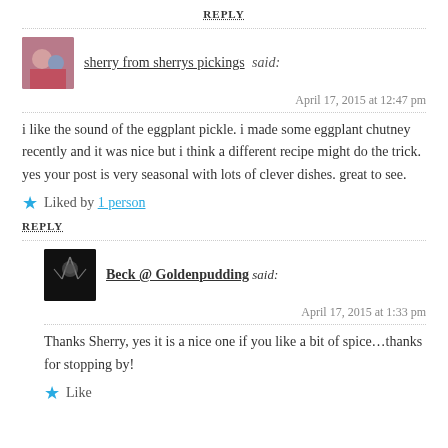REPLY
sherry from sherrys pickings said:
April 17, 2015 at 12:47 pm
i like the sound of the eggplant pickle. i made some eggplant chutney recently and it was nice but i think a different recipe might do the trick. yes your post is very seasonal with lots of clever dishes. great to see.
Liked by 1 person
REPLY
Beck @ Goldenpudding said:
April 17, 2015 at 1:33 pm
Thanks Sherry, yes it is a nice one if you like a bit of spice…thanks for stopping by!
Like